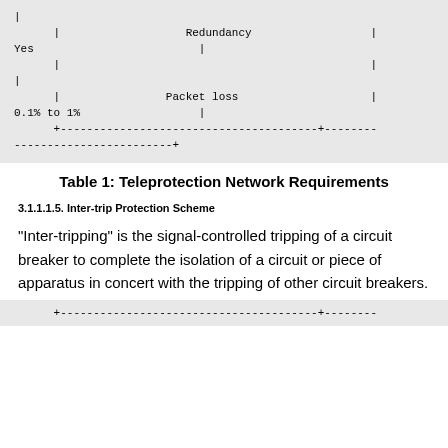[Figure (table-as-image): Partial ASCII table showing rows for Redundancy (Yes) and Packet loss (0.1% to 1%)]
Table 1: Teleprotection Network Requirements
3.1.1.1.5. Inter-trip Protection Scheme
"Inter-tripping" is the signal-controlled tripping of a circuit breaker to complete the isolation of a circuit or piece of apparatus in concert with the tripping of other circuit breakers.
[Figure (table-as-image): Bottom portion of ASCII table, beginning row separator line]